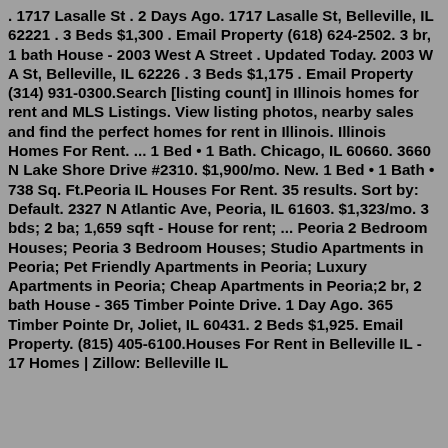. 1717 Lasalle St . 2 Days Ago. 1717 Lasalle St, Belleville, IL 62221 . 3 Beds $1,300 . Email Property (618) 624-2502. 3 br, 1 bath House - 2003 West A Street . Updated Today. 2003 W A St, Belleville, IL 62226 . 3 Beds $1,175 . Email Property (314) 931-0300.Search [listing count] in Illinois homes for rent and MLS Listings. View listing photos, nearby sales and find the perfect homes for rent in Illinois. Illinois Homes For Rent. ... 1 Bed • 1 Bath. Chicago, IL 60660. 3660 N Lake Shore Drive #2310. $1,900/mo. New. 1 Bed • 1 Bath • 738 Sq. Ft.Peoria IL Houses For Rent. 35 results. Sort by: Default. 2327 N Atlantic Ave, Peoria, IL 61603. $1,323/mo. 3 bds; 2 ba; 1,659 sqft - House for rent; ... Peoria 2 Bedroom Houses; Peoria 3 Bedroom Houses; Studio Apartments in Peoria; Pet Friendly Apartments in Peoria; Luxury Apartments in Peoria; Cheap Apartments in Peoria;2 br, 2 bath House - 365 Timber Pointe Drive. 1 Day Ago. 365 Timber Pointe Dr, Joliet, IL 60431. 2 Beds $1,925. Email Property. (815) 405-6100.Houses For Rent in Belleville IL - 17 Homes | Zillow: Belleville IL